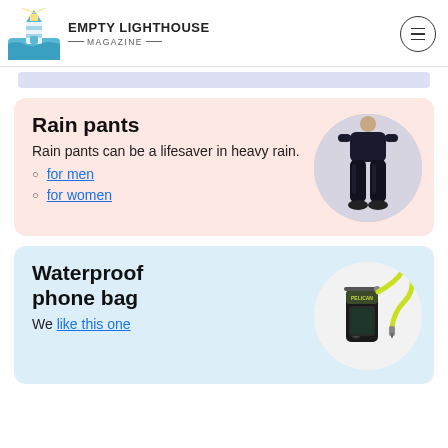EMPTY LIGHTHOUSE MAGAZINE
Rain pants
Rain pants can be a lifesaver in heavy rain.
for men
for women
[Figure (photo): Person wearing black rain pants, shown from waist down]
Waterproof phone bag
We like this one
[Figure (photo): Pelican waterproof phone bag with yellow-green lanyard]